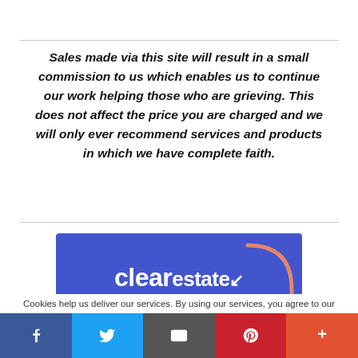Sales made via this site will result in a small commission to us which enables us to continue our work helping those who are grieving. This does not affect the price you are charged and we will only ever recommend services and products in which we have complete faith.
[Figure (logo): ClearEstate logo on a blue/purple background with an orange decorative corner arc]
Cookies help us deliver our services. By using our services, you agree to our
[Figure (infographic): Social sharing bar with Facebook, Twitter, Email, Pinterest, and More buttons]